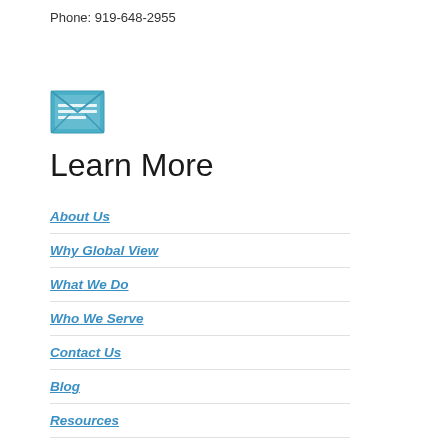Phone: 919-648-2955
[Figure (illustration): Envelope/inbox icon in teal/blue color]
Learn More
About Us
Why Global View
What We Do
Who We Serve
Contact Us
Blog
Resources
eBooks
Quick Guides